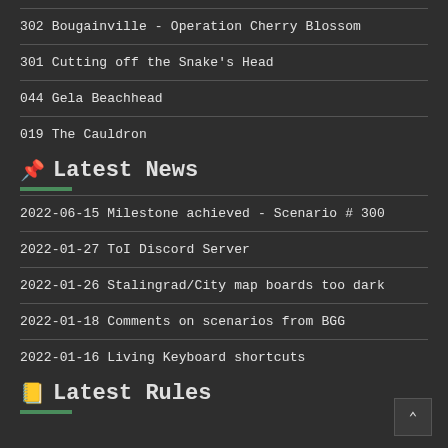302 Bougainville - Operation Cherry Blossom
301 Cutting off the Snake's Head
044 Gela Beachhead
019 The Cauldron
Latest News
2022-06-15 Milestone achieved - Scenario # 300
2022-01-27 ToI Discord Server
2022-01-26 Stalingrad/City map boards too dark
2022-01-18 Comments on scenarios from BGG
2022-01-16 Living Keyboard shortcuts
Latest Rules